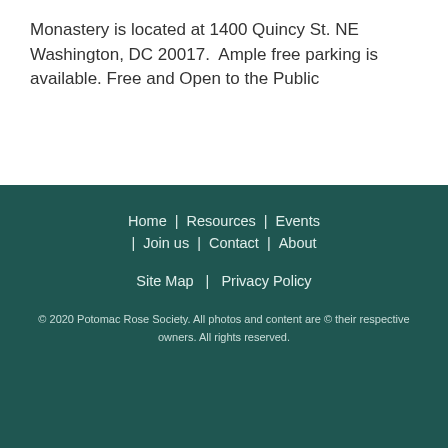Monastery is located at 1400 Quincy St. NE Washington, DC 20017.  Ample free parking is available. Free and Open to the Public
Home | Resources | Events | Join us | Contact | About | Site Map | Privacy Policy
© 2020 Potomac Rose Society. All photos and content are © their respective owners. All rights reserved.